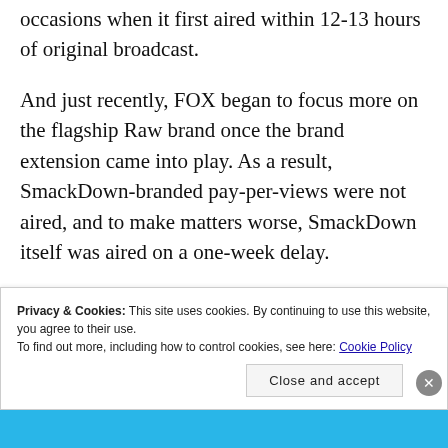occasions when it first aired within 12-13 hours of original broadcast.
And just recently, FOX began to focus more on the flagship Raw brand once the brand extension came into play. As a result, SmackDown-branded pay-per-views were not aired, and to make matters worse, SmackDown itself was aired on a one-week delay.
Privacy & Cookies: This site uses cookies. By continuing to use this website, you agree to their use. To find out more, including how to control cookies, see here: Cookie Policy
Close and accept